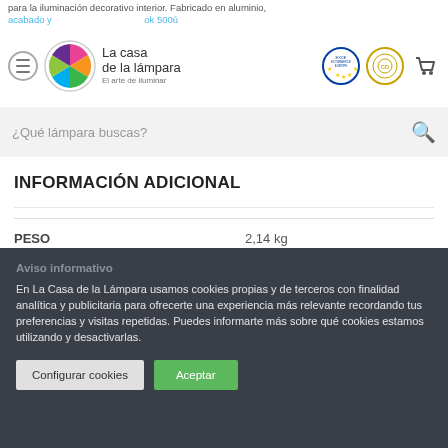para la iluminación decorativo interior. Fabricado en aluminio, acabado y ... ok 500ú (incl.). Transformador no incluido.
[Figure (logo): La Casa de la Lámpara logo with colorful triangle icon and text 'La casa de la lámpara - El arte de iluminar', alongside Ecommerce Europe and Confianza Online badges]
¿Qué lámpara buscas?
INFORMACIÓN ADICIONAL
| PESO |  |
| --- | --- |
| PESO | 2,14 kg |
Aviso informativo
En La Casa de la Lámpara usamos cookies propias y de terceros con finalidad analítica y publicitaria para ofrecerte una experiencia más relevante recordando tus preferencias y visitas repetidas. Puedes informarte más sobre qué cookies estamos utilizando y desactivarlas.
Configurar cookies | Aceptar